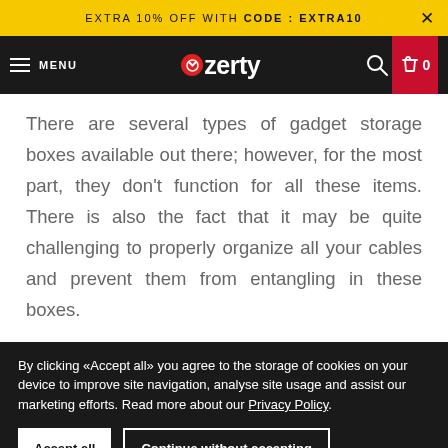EXTRA 10% OFF WITH CODE : EXTRA10
MENU | Ozerty | 0
There are several types of gadget storage boxes available out there; however, for the most part, they don't function for all these items. There is also the fact that it may be quite challenging to properly organize all your cables and prevent them from entangling in these boxes.
By clicking «Accept all» you agree to the storage of cookies on your device to improve site navigation, analyse site usage and assist our marketing efforts. Read more about our Privacy Policy.
Accept all | Continue without accepting